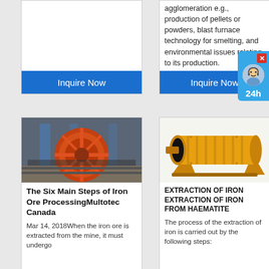[Figure (screenshot): Top-left card with empty white content area and blue Inquire Now button]
agglomeration e.g., production of pellets or powders, blast furnace technology for smelting, and environmental issues relating to its production.
[Figure (photo): Industrial mining facility with large orange circular wheel/gear machinery in a factory setting]
The Six Main Steps of Iron Ore ProcessingMultotec Canada
Mar 14, 2018When the iron ore is extracted from the mine, it must undergo
[Figure (photo): Yellow industrial ball mill machine on a white background]
EXTRACTION OF IRON EXTRACTION OF IRON FROM HAEMATITE
The process of the extraction of iron is carried out by the following steps: